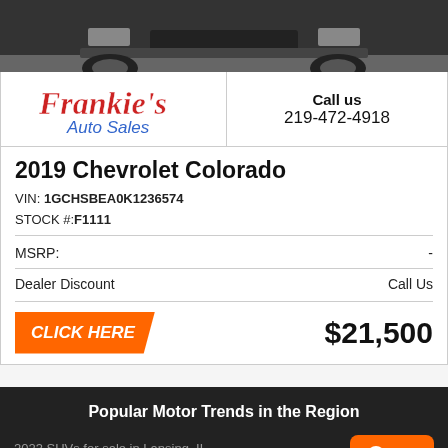[Figure (photo): Partial front view of a dark-colored Chevrolet Colorado truck, cropped showing bottom of front grille and wheels on pavement]
Frankie's Auto Sales | Call us 219-472-4918
2019 Chevrolet Colorado
VIN: 1GCHSBEA0K1236574
STOCK #: F1111
MSRP: -
Dealer Discount   Call Us
CLICK HERE   $21,500
Popular Motor Trends in the Region
2023 SUVs for sale in Lansing, IL
2022 SUVs for sale in Lansing, IL